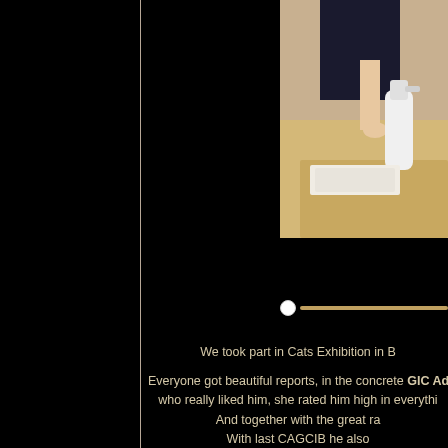[Figure (photo): Person holding a spray bottle near a table, upper body visible, beige/tan background]
We took part in Cats Exhibition in B
Everyone got beautiful reports, in the concrete GIC Adwir who really liked him, she rated him high in everythi And together with the great ra With last CAGCIB he also We enjoyed the mos
IC Business Boy Magic Pleasure, SK- called Boyo a beautiful big head, eyes, hair condition, he also kissed h com
On his second show was also our Fine Touch of Magic rated his beautiful arch He wrote him beaut
On his first show was also our goggle-eyed Go-Go of